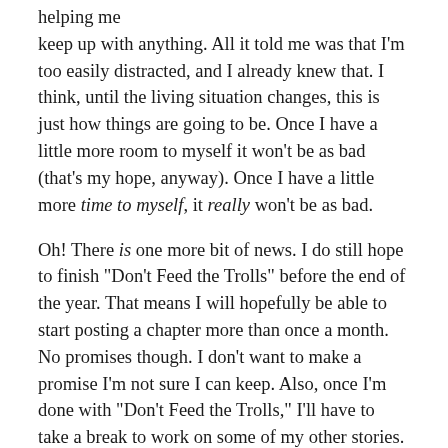helping me keep up with anything. All it told me was that I'm too easily distracted, and I already knew that. I think, until the living situation changes, this is just how things are going to be. Once I have a little more room to myself it won't be as bad (that's my hope, anyway). Once I have a little more time to myself, it really won't be as bad.
Oh! There is one more bit of news. I do still hope to finish "Don't Feed the Trolls" before the end of the year. That means I will hopefully be able to start posting a chapter more than once a month. No promises though. I don't want to make a promise I'm not sure I can keep. Also, once I'm done with "Don't Feed the Trolls," I'll have to take a break to work on some of my other stories. They've been sitting on the back burner for much too long.
Now, I'm done with the news. I hope all of you are staying